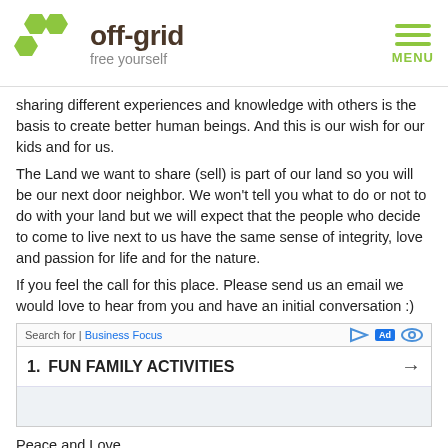off-grid free yourself
sharing different experiences and knowledge with others is the basis to create better human beings. And this is our wish for our kids and for us.
The Land we want to share (sell) is part of our land so you will be our next door neighbor. We won't tell you what to do or not to do with your land but we will expect that the people who decide to come to live next to us have the same sense of integrity, love and passion for life and for the nature.
If you feel the call for this place. Please send us an email we would love to hear from you and have an initial conversation :)
[Figure (other): Advertisement bar: Search for | Business Focus with ad icons and item '1. FUN FAMILY ACTIVITIES' with arrow]
Peace and Love
Felipe and Melina
felipecalv@gmail.com